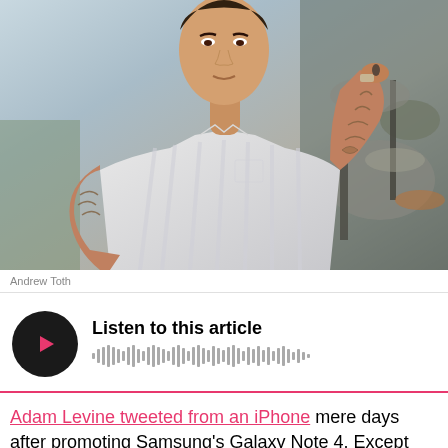[Figure (photo): A tattooed man in a white striped short-sleeve shirt standing near a drum kit, raising his right hand to his ear, photographed by Andrew Toth]
Andrew Toth
[Figure (other): Audio player widget with a dark circular play button featuring a pink play icon and sound wave visualization, labeled 'Listen to this article']
Adam Levine tweeted from an iPhone mere days after promoting Samsung's Galaxy Note 4. Except